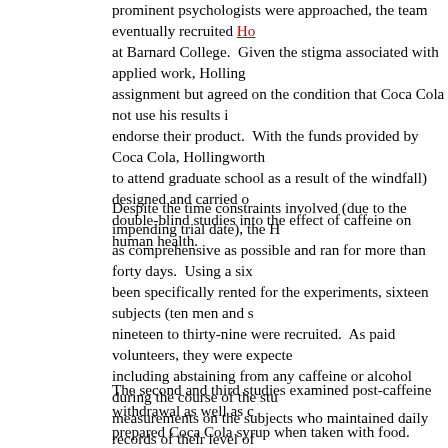prominent psychologists were approached, the team eventually recruited Ha[link] at Barnard College. Given the stigma associated with applied work, Holling... assignment but agreed on the condition that Coca Cola not use his results i... endorse their product. With the funds provided by Coca Cola, Hollingworth ... to attend graduate school as a result of the windfall) designed and carried o... double-blind studies into the effect of caffeine on human health.
Despite the time constraints involved (due to the impending trial date), the H... as comprehensive as possible and ran for more than forty days. Using a six... been specifically rented for the experiments, sixteen subjects (ten men and ... nineteen to thirty-nine were recruited. As paid volunteers, they were expecte... including abstaining from any caffeine or alcohol during the course of the stu... measurements on the subjects who maintained daily records of their level o... health. There were actually three separate studies with the longest running ... of cognition, perception, judgment, discrimination, and attention. Between t... in a leisure room reserved for their use For the first week, subjects received... was collected as they became adapted to the research routine. In the next v... groups with three groups receiving different doses of caffeine and the fourth... Since it was a double-blind study, the experimenters working with the subjec... remained unaware of whether the subjects were in the experimental groups... dosages used were intended to reflect what a typical Coca Cola drinker mig...
The second and third studies examined post-caffeine withdrawal as well as ... prepared Coca Cola syrup when taken with food. Although the subjects were... the Hollingworths, along with the graduate students who were working on th... night processing the more than 64,000 different measurements that had bee... days). As well, the Hollingworths maintained a duplicate set of the day's dat... due to fears of the information being destroyed in a fire. When the data was... underway in Chatanooga, Tennessee), Hollingworth's results quickly stood c... had already been presented. In his testimony, Hollingworth concluded that t... producing any negative effects on cognitive or motor performance. A reporte... later described Hollingsworth's testimony (his name was misspelled) as "by... of any yet introduced, cross-examination failed to shake any of his dedic...